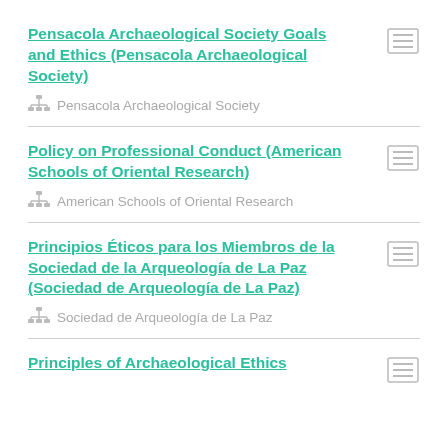Pensacola Archaeological Society Goals and Ethics (Pensacola Archaeological Society)
Pensacola Archaeological Society
Policy on Professional Conduct (American Schools of Oriental Research)
American Schools of Oriental Research
Principios Éticos para los Miembros de la Sociedad de la Arqueología de La Paz (Sociedad de Arqueología de La Paz)
Sociedad de Arqueología de La Paz
Principles of Archaeological Ethics